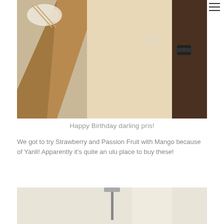[Figure (photo): Photo of a woman in a cream/white dress sitting at a restaurant table, wearing a bracelet and a dark watch, with wooden table and dishes visible]
Happy Birthday darling pris!
We got to try Strawberry and Passion Fruit with Mango because of Yanli! Apparently it's quite an ulu place to buy these!
[Figure (photo): Partial photo of a bright interior space with a pendant lamp/fixture visible]